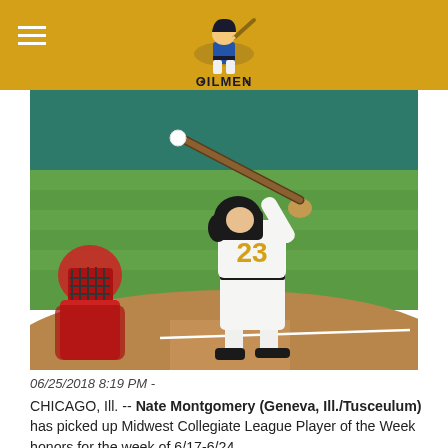Oilmen logo header
[Figure (photo): Baseball player wearing number 23 in white and gold uniform mid-swing at home plate, with catcher in red visible to the left, green grass field in background.]
06/25/2018 8:19 PM -
CHICAGO, Ill. -- Nate Montgomery (Geneva, Ill./Tusceulum) has picked up Midwest Collegiate League Player of the Week honors for the week of 6/17-6/24.